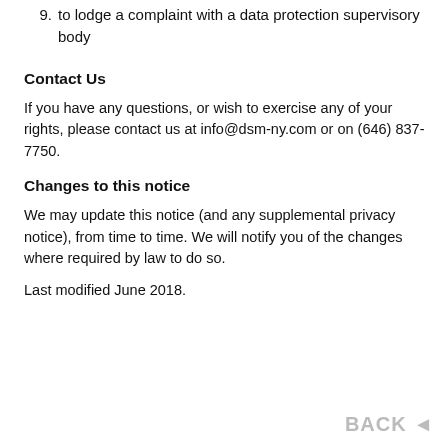9. to lodge a complaint with a data protection supervisory body
Contact Us
If you have any questions, or wish to exercise any of your rights, please contact us at info@dsm-ny.com or on (646) 837-7750.
Changes to this notice
We may update this notice (and any supplemental privacy notice), from time to time. We will notify you of the changes where required by law to do so.
Last modified June 2018.
BACK ◄